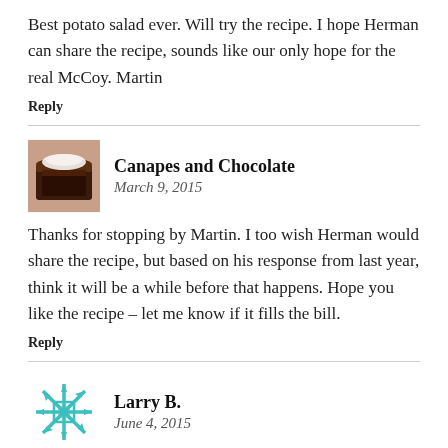Best potato salad ever. Will try the recipe. I hope Herman can share the recipe, sounds like our only hope for the real McCoy. Martin
Reply
Canapes and Chocolate
March 9, 2015
Thanks for stopping by Martin. I too wish Herman would share the recipe, but based on his response from last year, think it will be a while before that happens. Hope you like the recipe – let me know if it fills the bill.
Reply
Larry B.
June 4, 2015
Lunardi's down here in the South Bay area offers a S. F. Potato